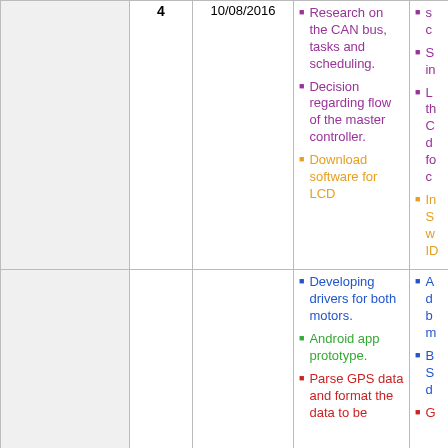|  | Week | Date | Tasks | Done |
| --- | --- | --- | --- | --- |
|  | 4 | 10/08/2016 | Research on the CAN bus, tasks and scheduling. | Decision regarding flow of the master controller. | Download software for LCD | (partial) ...s c... | S... in... | L... th... C... d... fo... c... | In... S... w... ID... |
|  |  |  | Developing drivers for both motors. | Android app prototype. | Parse GPS data and format the data to be | A... d... b... m... | B... S... d... | G... |